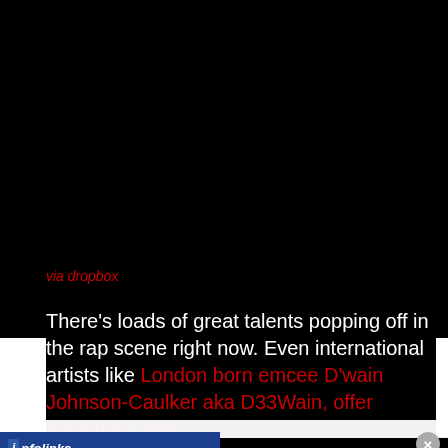via dropbox
There's loads of great talents popping off in the rap scene right now. Even international artists like London born emcee D'wain Johnson-Caulker aka D33Wain, offer something new
[Figure (screenshot): infolinks advertisement bar overlay at bottom of screen]
×